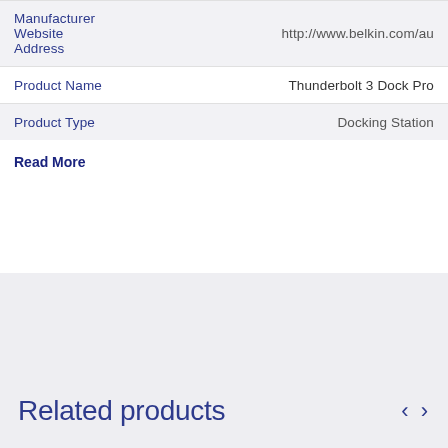| Field | Value |
| --- | --- |
| Manufacturer Website Address | http://www.belkin.com/au |
| Product Name | Thunderbolt 3 Dock Pro |
| Product Type | Docking Station |
Read More
Related products